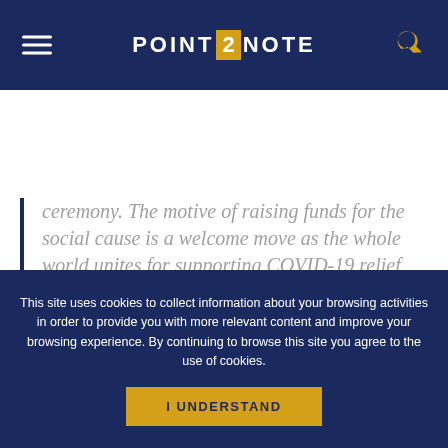POINT 2 NOTE
ceremony. The motive of raising funds for the social cause is a welcome move as the whole world unites for supporting COVID-19 relief efforts and social justice.
This site uses cookies to collect information about your browsing activities in order to provide you with more relevant content and improve your browsing experience. By continuing to browse this site you agree to the use of cookies.
I UNDERSTAND